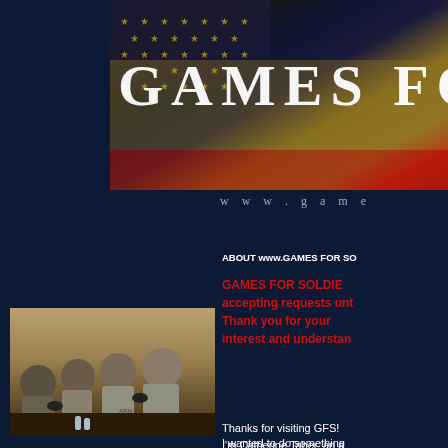[Figure (photo): Banner image showing American flag with text 'GAMES FOR' overlaid in large white serif letters on a dark navy/gold/red flag background]
www.game
ABOUT www.GAMES FOR SO
GAMES FOR SOLDIE... accepting requests unt... Thank you for your interest and understan...
[Figure (photo): Photo of soldiers in military fatigues and gray Army t-shirts sitting and playing video games with controllers in a plywood-walled room]
Thanks for visiting GFS! I'm Catherine Taber, an a... VIDEO GAMES.
I wanted to do something...